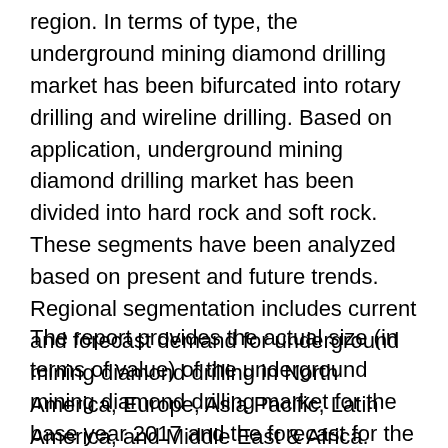region. In terms of type, the underground mining diamond drilling market has been bifurcated into rotary drilling and wireline drilling. Based on application, underground mining diamond drilling market has been divided into hard rock and soft rock. These segments have been analyzed based on present and future trends. Regional segmentation includes current and forecast demand for underground mining diamond drilling in North America, Europe, Asia Pacific, Latin America, and Middle East & Africa.
The report provides the actual size (in terms of value) of the underground mining diamond drilling market for the base year 2017 and the forecast for the period between 2018 and 2026. The global